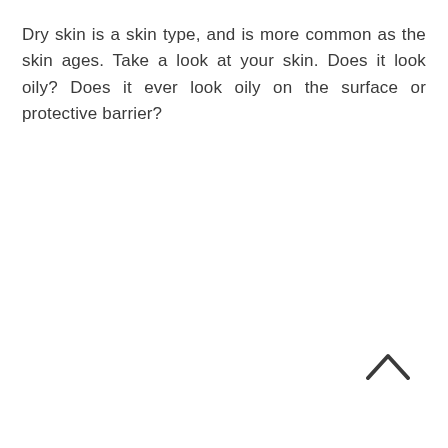Dry skin is a skin type, and is more common as the skin ages. Take a look at your skin. Does it look oily? Does it ever look oily on the surface or protective barrier?
[Figure (other): A caret/chevron up arrow icon in dark gray, positioned in the lower right area of the page.]